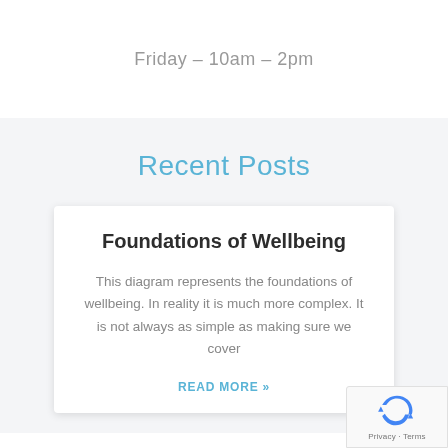Friday – 10am – 2pm
Recent Posts
Foundations of Wellbeing
This diagram represents the foundations of wellbeing. In reality it is much more complex. It is not always as simple as making sure we cover
READ MORE »